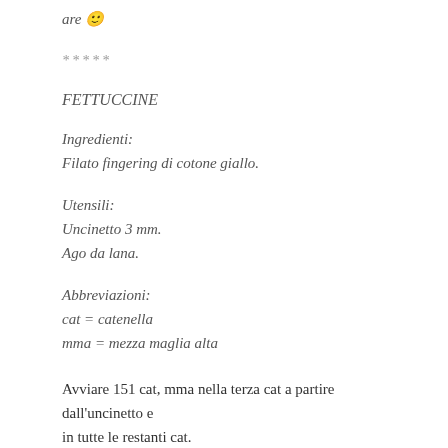are 🙂
*****
FETTUCCINE
Ingredienti:
Filato fingering di cotone giallo.
Utensili:
Uncinetto 3 mm.
Ago da lana.
Abbreviazioni:
cat = catenella
mma = mezza maglia alta
Avviare 151 cat, mma nella terza cat a partire dall'uncinetto e in tutte le restanti cat.